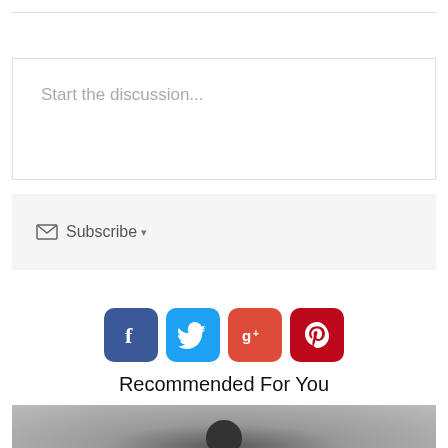Start the discussion...
Subscribe
[Figure (infographic): Social share buttons: Facebook (blue), Twitter (light blue), Google+ (orange-red), Pinterest (red)]
Recommended For You
[Figure (photo): Black and white photo of a person's head]